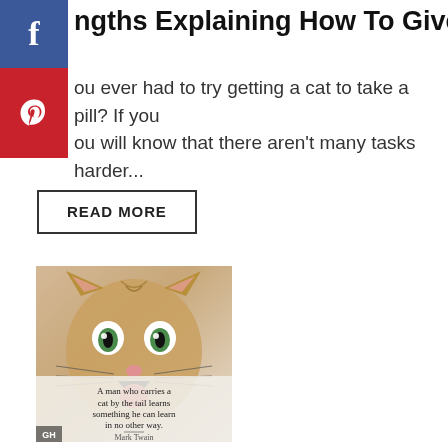[Figure (logo): Facebook share button, blue square with white 'f' letter]
[Figure (logo): Pinterest share button, red square with white Pinterest 'p' logo]
ngths Explaining How To Give a Cat a Pill
ou ever had to try getting a cat to take a pill? If you ou will know that there aren't many tasks harder...
READ MORE
[Figure (photo): A surprised/yawning kitten with wide eyes and open mouth, with a Mark Twain quote overlay: 'A man who carries a cat by the tail learns something he can learn in no other way. — Mark Twain'. GH badge in lower left corner.]